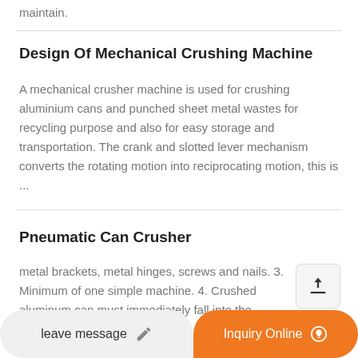maintain.
Design Of Mechanical Crushing Machine
A mechanical crusher machine is used for crushing aluminium cans and punched sheet metal wastes for recycling purpose and also for easy storage and transportation. The crank and slotted lever mechanism converts the rotating motion into reciprocating motion, this is ...
Pneumatic Can Crusher
metal brackets, metal hinges, screws and nails. 3. Minimum of one simple machine. 4. Crushed aluminum can must immediately fall into the aluminum can bin with...